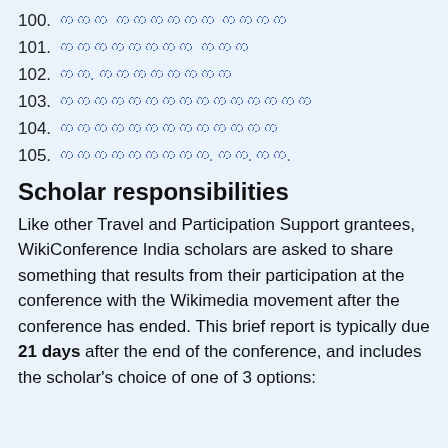100. இந்த நெறி இல்ல
101. அல்லப்பா அல்
102. கா.தெறிக்க
103. இல்ல்அதல்ல்அதல்ல்
104. இல்ல்அதல்ல்அத
105. யாராவது.தெ.தெ.
Scholar responsibilities
Like other Travel and Participation Support grantees, WikiConference India scholars are asked to share something that results from their participation at the conference with the Wikimedia movement after the conference has ended. This brief report is typically due 21 days after the end of the conference, and includes the scholar's choice of one of 3 options: